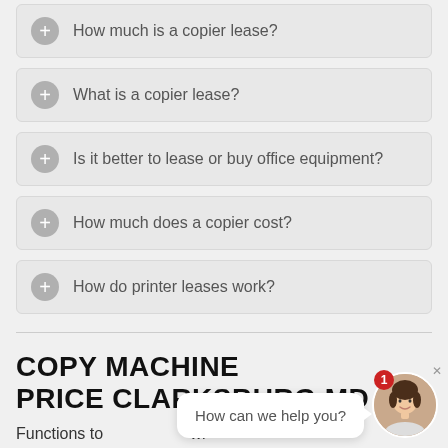How much is a copier lease?
What is a copier lease?
Is it better to lease or buy office equipment?
How much does a copier cost?
How do printer leases work?
COPY MACHINE PRICE CLARKSBURG MD
Functions to wi Office Copy Machines
[Figure (illustration): Chat widget with woman avatar, badge showing '1', speech bubble saying 'How can we help you?' and close button]